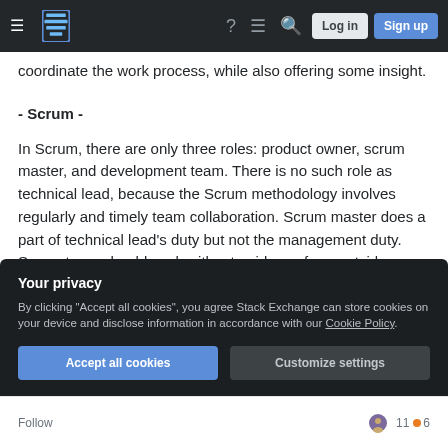Stack Exchange navigation bar with Log in and Sign up buttons
coordinate the work process, while also offering some insight.
- Scrum -
In Scrum, there are only three roles: product owner, scrum master, and development team. There is no such role as technical lead, because the Scrum methodology involves regularly and timely team collaboration. Scrum master does a part of technical lead's duty but not the management duty. Scrum team should work without guidance from outside.
Your privacy
By clicking "Accept all cookies", you agree Stack Exchange can store cookies on your device and disclose information in accordance with our Cookie Policy.
Accept all cookies  Customize settings
Follow  11 ● 6